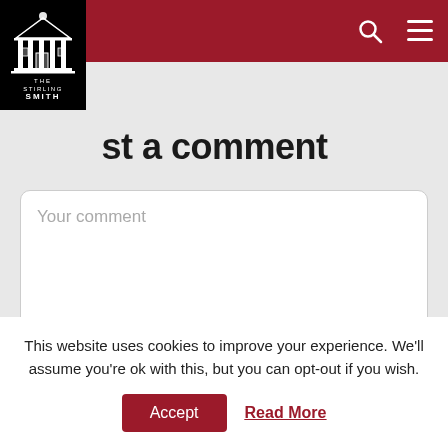[Figure (logo): The Stirling Smith museum logo — black square with white classical building illustration and text THE STIRLING SMITH]
Navigation header with search icon and hamburger menu icon on dark red background
Post a comment
Your comment (text area placeholder)
Your name (input field placeholder)
This website uses cookies to improve your experience. We'll assume you're ok with this, but you can opt-out if you wish.
Accept | Read More